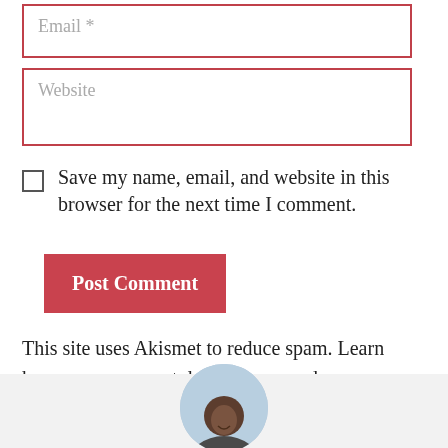Email *
Website
Save my name, email, and website in this browser for the next time I comment.
Post Comment
This site uses Akismet to reduce spam. Learn how your comment data is processed.
[Figure (photo): Circular profile photo of a man, partially visible at bottom of page, shown from shoulders up, light blue sky background]